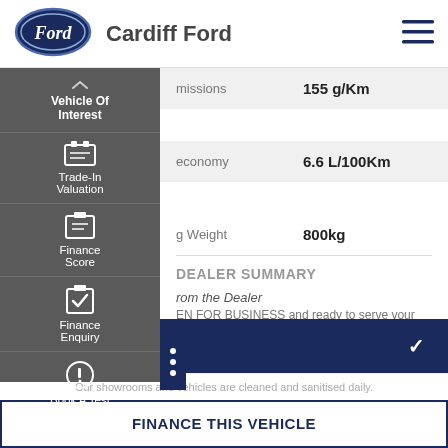[Figure (logo): Ford oval logo in dark blue with white Ford script]
Cardiff Ford
[Figure (illustration): Hamburger menu icon (three horizontal lines)]
Vehicle Of Interest
[Figure (illustration): Trade-in valuation icon]
Trade-In Valuation
[Figure (illustration): Finance score icon]
Finance Score
[Figure (illustration): Finance enquiry icon]
Finance Enquiry
[Figure (illustration): Book a test drive icon]
Book A Test Drive
| Specification | Value |
| --- | --- |
| missions | 155 g/Km |
| economy | 6.6 L/100Km |
| g Weight | 800kg |
DEALER SUMMARY
rom the Dealer
EN FOR BUSINESS and ready to serve your every
CONTACT US
Our showrooms and vehicles are cleaned and sanitised daily.
FINANCE THIS VEHICLE